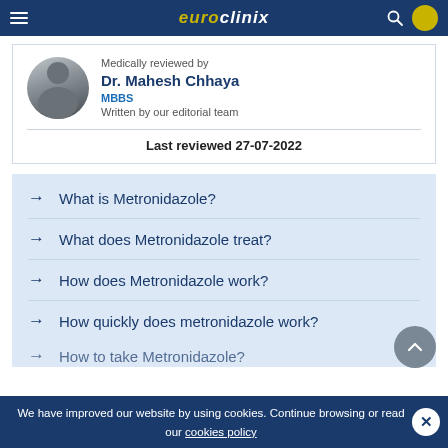euroclinix
Medically reviewed by
Dr. Mahesh Chhaya
MBBS
Written by our editorial team
Last reviewed 27-07-2022
What is Metronidazole?
What does Metronidazole treat?
How does Metronidazole work?
How quickly does metronidazole work?
How to take Metronidazole?
We have improved our website by using cookies. Continue browsing or read our cookies policy